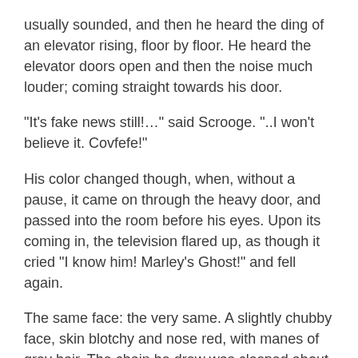usually sounded, and then he heard the ding of an elevator rising, floor by floor. He heard the elevator doors open and then the noise much louder; coming straight towards his door.
"It's fake news still!…" said Scrooge. "..I won't believe it. Covfefe!"
His color changed though, when, without a pause, it came on through the heavy door, and passed into the room before his eyes. Upon its coming in, the television flared up, as though it cried "I know him! Marley's Ghost!" and fell again.
The same face: the very same. A slightly chubby face, skin blotchy and nose red, with manes of grey hair. The chain he drew was clasped about his middle. It was long, and wound about him like a tail; and it was made (for Scrooge observed it closely) of newspaper